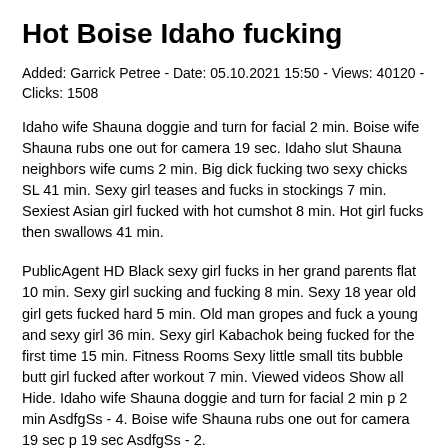Hot Boise Idaho fucking
Added: Garrick Petree - Date: 05.10.2021 15:50 - Views: 40120 - Clicks: 1508
Idaho wife Shauna doggie and turn for facial 2 min. Boise wife Shauna rubs one out for camera 19 sec. Idaho slut Shauna neighbors wife cums 2 min. Big dick fucking two sexy chicks SL 41 min. Sexy girl teases and fucks in stockings 7 min. Sexiest Asian girl fucked with hot cumshot 8 min. Hot girl fucks then swallows 41 min.
PublicAgent HD Black sexy girl fucks in her grand parents flat 10 min. Sexy girl sucking and fucking 8 min. Sexy 18 year old girl gets fucked hard 5 min. Old man gropes and fuck a young and sexy girl 36 min. Sexy girl Kabachok being fucked for the first time 15 min. Fitness Rooms Sexy little small tits bubble butt girl fucked after workout 7 min. Viewed videos Show all Hide. Idaho wife Shauna doggie and turn for facial 2 min p 2 min AsdfgSs - 4. Boise wife Shauna rubs one out for camera 19 sec p 19 sec AsdfgSs - 2.